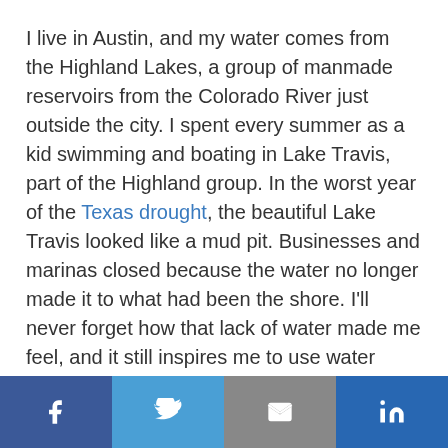I live in Austin, and my water comes from the Highland Lakes, a group of manmade reservoirs from the Colorado River just outside the city. I spent every summer as a kid swimming and boating in Lake Travis, part of the Highland group. In the worst year of the Texas drought, the beautiful Lake Travis looked like a mud pit. Businesses and marinas closed because the water no longer made it to what had been the shore. I'll never forget how that lack of water made me feel, and it still inspires me to use water wisely.
[Figure (infographic): Social share bar with four buttons: Facebook (dark blue), Twitter (light blue), Email (grey), LinkedIn (dark blue)]